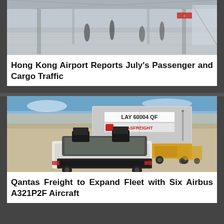[Figure (photo): Hong Kong Airport terminal interior with people walking on reflective floor, wide-angle view]
Hong Kong Airport Reports July's Passenger and Cargo Traffic
[Figure (photo): Qantas Freight ground support vehicle (tug) with freight container labeled LAY 60004 QF and Qantas Freight logo on airport tarmac]
Qantas Freight to Expand Fleet with Six Airbus A321P2F Aircraft